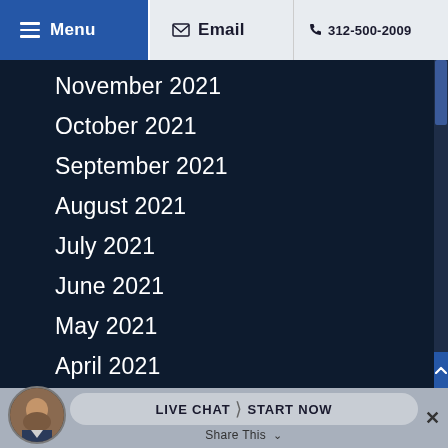Menu  Email  312-500-2009
November 2021
October 2021
September 2021
August 2021
July 2021
June 2021
May 2021
April 2021
LIVE CHAT > START NOW  Share This